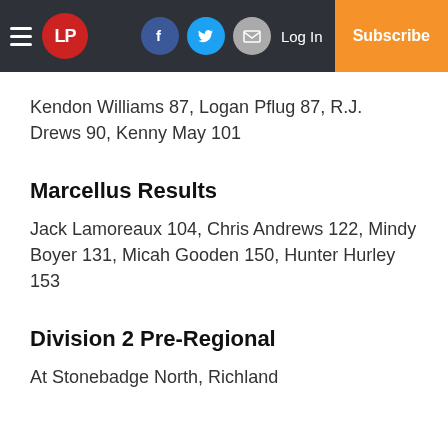LP | Log In | Subscribe
Kendon Williams 87, Logan Pflug 87, R.J. Drews 90, Kenny May 101
Marcellus Results
Jack Lamoreaux 104, Chris Andrews 122, Mindy Boyer 131, Micah Gooden 150, Hunter Hurley 153
Division 2 Pre-Regional
At Stonebadge North, Richland